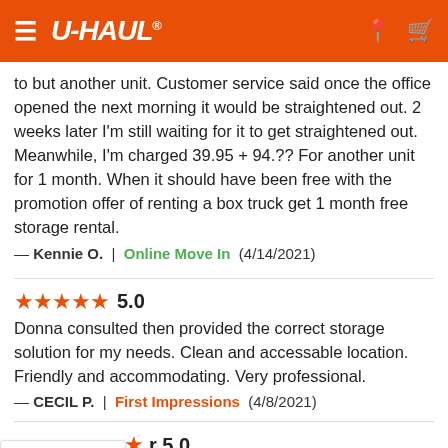U-HAUL
to but another unit. Customer service said once the office opened the next morning it would be straightened out. 2 weeks later I'm still waiting for it to get straightened out. Meanwhile, I'm charged 39.95 + 94.?? For another unit for 1 month. When it should have been free with the promotion offer of renting a box truck get 1 month free storage rental.
— Kennie O.  |  Online Move In  (4/14/2021)
★★★★★ 5.0
Donna consulted then provided the correct storage solution for my needs. Clean and accessable location. Friendly and accommodating. Very professional.
— CECIL P.  |  First Impressions  (4/8/2021)
[Figure (other): Back-to-top button with upward chevron arrow and text 'Volver arriba' in blue]
r 5.0
my first time renting a storage unit and the staff was very helpful and made it a good experience. Gracias